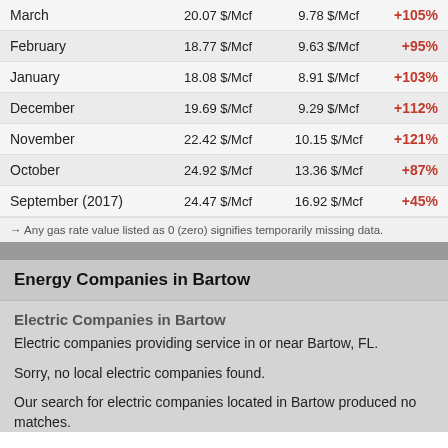| Month | Rate | Comparison | Change |
| --- | --- | --- | --- |
| March | 20.07 $/Mcf | 9.78 $/Mcf | +105% |
| February | 18.77 $/Mcf | 9.63 $/Mcf | +95% |
| January | 18.08 $/Mcf | 8.91 $/Mcf | +103% |
| December | 19.69 $/Mcf | 9.29 $/Mcf | +112% |
| November | 22.42 $/Mcf | 10.15 $/Mcf | +121% |
| October | 24.92 $/Mcf | 13.36 $/Mcf | +87% |
| September (2017) | 24.47 $/Mcf | 16.92 $/Mcf | +45% |
→ Any gas rate value listed as 0 (zero) signifies temporarily missing data.
Energy Companies in Bartow
Electric Companies in Bartow
Electric companies providing service in or near Bartow, FL.
Sorry, no local electric companies found.
Our search for electric companies located in Bartow produced no matches.